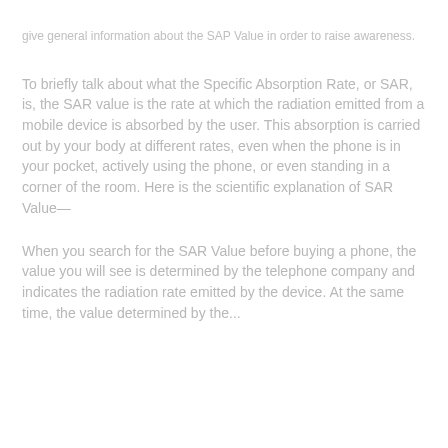give general information about the SAP Value in order to raise awareness.
To briefly talk about what the Specific Absorption Rate, or SAR, is, the SAR value is the rate at which the radiation emitted from a mobile device is absorbed by the user. This absorption is carried out by your body at different rates, even when the phone is in your pocket, actively using the phone, or even standing in a corner of the room. Here is the scientific explanation of SAR Value—
When you search for the SAR Value before buying a phone, the value you will see is determined by the telephone company and indicates the radiation rate emitted by the device. At the same time, the value determined by the...